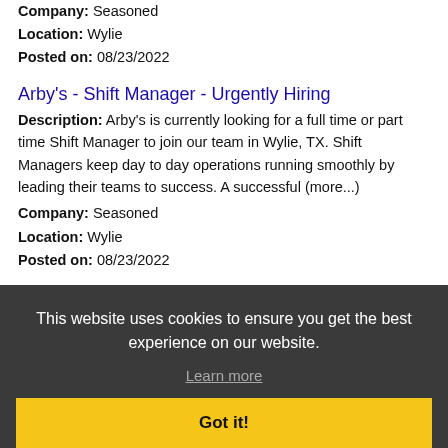Company: Seasoned
Location: Wylie
Posted on: 08/23/2022
Arby's - Shift Manager - Urgently Hiring
Description: Arby's is currently looking for a full time or part time Shift Manager to join our team in Wylie, TX. Shift Managers keep day to day operations running smoothly by leading their teams to success. A successful (more...)
Company: Seasoned
Location: Wylie
Posted on: 08/23/2022
Loading more jobs...
This website uses cookies to ensure you get the best experience on our website.
Learn more
Got it!
Login or Create An Account
Username:
Password: